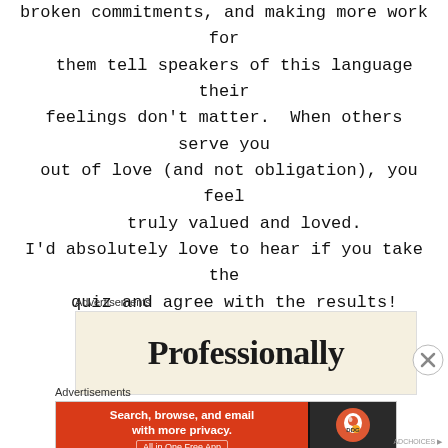broken commitments, and making more work for them tell speakers of this language their feelings don't matter. When others serve you out of love (and not obligation), you feel truly valued and loved.
I'd absolutely love to hear if you take the quiz and agree with the results!
~Whitney Victoria
Advertisements
[Figure (screenshot): Advertisement banner showing 'Professionally' text in serif font on a cream/beige background]
Advertisements
[Figure (screenshot): DuckDuckGo advertisement: 'Search, browse, and email with more privacy. All in One Free App' on orange background with DuckDuckGo logo on dark panel]